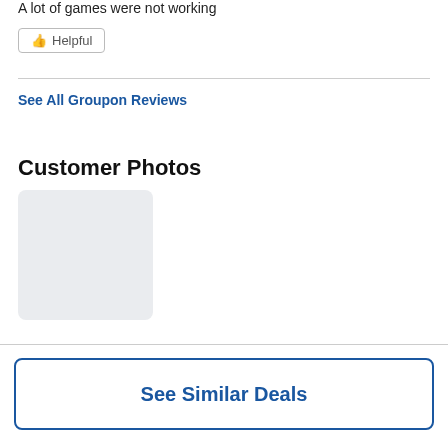A lot of games were not working
👍 Helpful
See All Groupon Reviews
Customer Photos
[Figure (photo): Customer photo placeholder — a light grey rounded rectangle representing a placeholder image thumbnail]
See Similar Deals